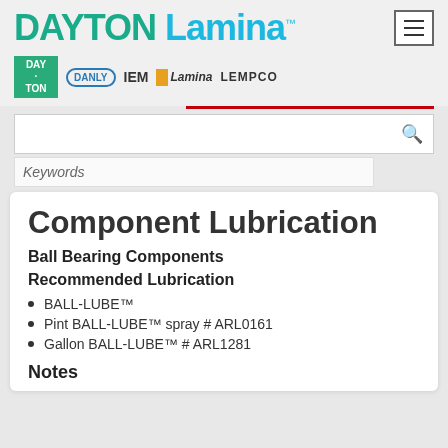[Figure (logo): Dayton Lamina company logo with teal DAYTON and blue Lamina text]
[Figure (logo): Brand logos row: Dayton, Danly, IEM, Lamina, Lempco]
Component Lubrication
Ball Bearing Components
Recommended Lubrication
BALL-LUBE™
Pint BALL-LUBE™ spray # ARL0161
Gallon BALL-LUBE™ # ARL1281
Notes